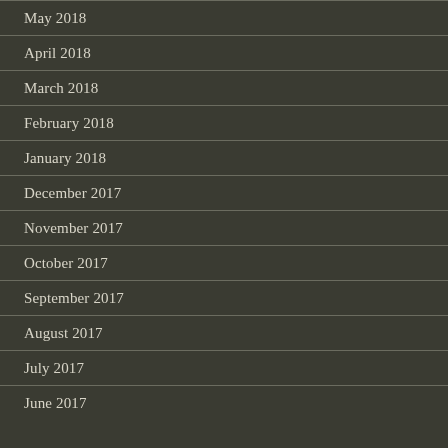May 2018
April 2018
March 2018
February 2018
January 2018
December 2017
November 2017
October 2017
September 2017
August 2017
July 2017
June 2017